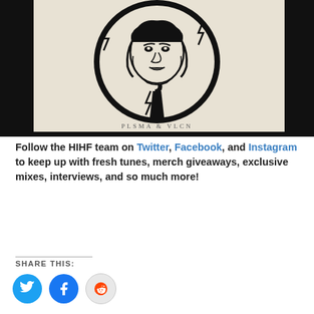[Figure (illustration): Pop-art style black and white illustration of a woman looking into a round mirror, holding the mirror handle (resembling a ping pong paddle), with lightning bolt symbols around her. Text 'PLSMA & VLCN' at the bottom of the illustration. Black background with cream/beige illustration area.]
Follow the HIHF team on Twitter, Facebook, and Instagram to keep up with fresh tunes, merch giveaways, exclusive mixes, interviews, and so much more!
SHARE THIS:
[Figure (infographic): Three social media share icon buttons: Twitter (blue circle with bird icon), Facebook (blue circle with f icon), Reddit (light grey circle with alien mascot icon)]